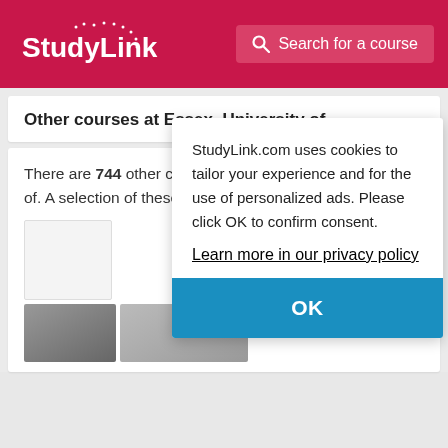StudyLink | Search for a course
Other courses at Essex, University of
There are 744 other courses listed from Essex, University of. A selection of these are displayed below:
StudyLink.com uses cookies to tailor your experience and for the use of personalized ads. Please click OK to confirm consent.
Learn more in our privacy policy